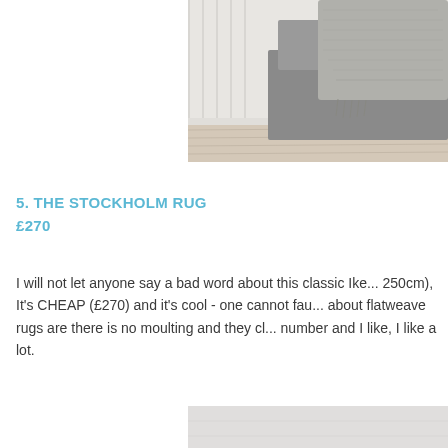[Figure (photo): A Scandinavian-style bedroom scene showing a grey sofa/bed with a grey knitted throw blanket draped over it, against white vertical-panelled walls and light wooden floorboards. Photo is cropped showing only the right portion.]
5. THE STOCKHOLM RUG
£270
I will not let anyone say a bad word about this classic Ike... 250cm), It's CHEAP (£270) and it's cool - one cannot fau... about flatweave rugs are there is no moulting and they cl... number and I like, I like a lot.
[Figure (photo): Bottom portion of a product photo showing a light grey/white rug or textile, partially visible at the bottom of the page.]